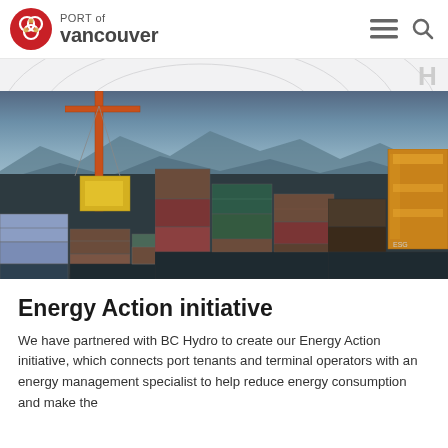PORT of vancouver
[Figure (photo): Aerial dusk view of Port of Vancouver container terminal with shipping containers stacked in rows and large orange/red gantry cranes, mountains and water visible in background]
Energy Action initiative
We have partnered with BC Hydro to create our Energy Action initiative, which connects port tenants and terminal operators with an energy management specialist to help reduce energy consumption and make the